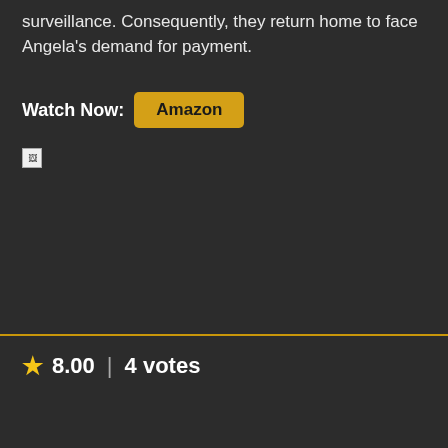surveillance. Consequently, they return home to face Angela's demand for payment.
Watch Now:  Amazon
[Figure (other): Broken image placeholder icon]
★ 8.00 | 4 votes